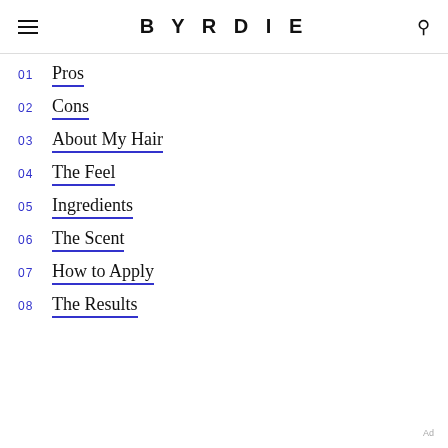BYRDIE
01 Pros
02 Cons
03 About My Hair
04 The Feel
05 Ingredients
06 The Scent
07 How to Apply
08 The Results
Ad